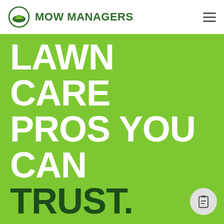MOW MANAGERS
LAWN CARE PROS YOU CAN TRUST.
All lawns aren’t created equal, that’s why we use local Tulsa, Oklahoma independent, experienced lawn care professionals who we trust to take great care of your lawn. We’re committed to providing you with the best customer service, fast and reliable communication.